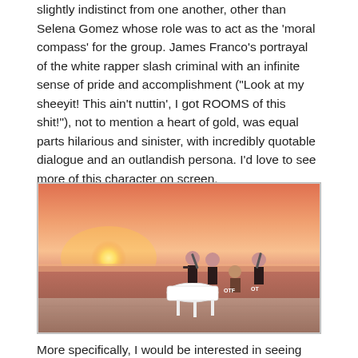slightly indistinct from one another, other than Selena Gomez whose role was to act as the 'moral compass' for the group. James Franco's portrayal of the white rapper slash criminal with an infinite sense of pride and accomplishment ("Look at my sheeyit! This ain't nuttin', I got ROOMS of this shit!"), not to mention a heart of gold, was equal parts hilarious and sinister, with incredibly quotable dialogue and an outlandish persona. I'd love to see more of this character on screen.
[Figure (photo): A sunset scene on a terrace by the ocean. Several figures wearing pink balaclavas and holding weapons stand around a white grand piano. The sky is vivid pink and orange with the sun low on the horizon over the sea.]
More specifically, I would be interested in seeing Alien's origin story. For example, what his childhood was like, his adolescence